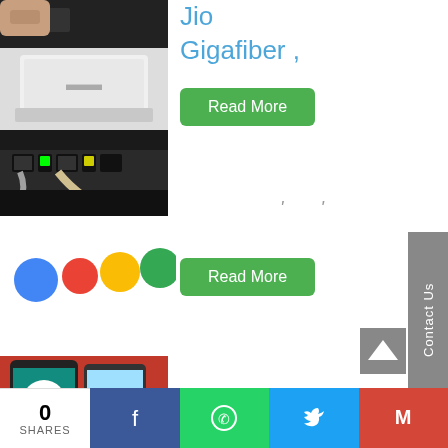[Figure (photo): Top portion of a white router device with cable being plugged in]
Jio Gigafiber ,
[Figure (photo): Back panel of a router showing ethernet ports with cables and green LED indicators]
Read More
' '
[Figure (illustration): Google colored dots logo - blue, red, yellow, green circles]
Read More
[Figure (photo): Smartphone showing WhatsApp logo on screen, placed on red background]
Contact Us
0 SHARES | Facebook | WhatsApp | Twitter | Gmail